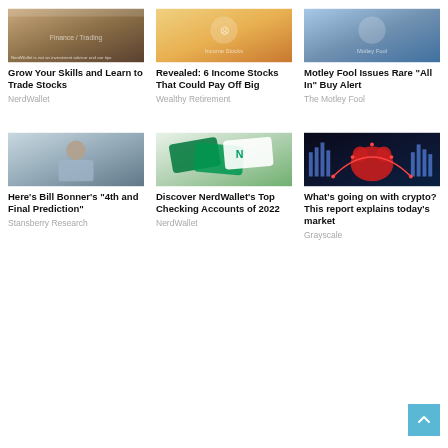[Figure (photo): Stock trading / finance related image with NerdWallet disclaimer text]
Grow Your Skills and Learn to Trade Stocks
NerdWallet
[Figure (photo): Person working, income stocks article image]
Revealed: 6 Income Stocks That Could Pay Off Big
Wealthy Retirement
[Figure (photo): Motley Fool article image with person gesturing]
Motley Fool Issues Rare "All In" Buy Alert
The Motley Fool
[Figure (photo): Bill Bonner portrait photo - older man in blue shirt]
Here’s Bill Bonner’s “4th and Final Prediction”
Stansberry Research
[Figure (photo): NerdWallet checking accounts - green cards and phone app]
Discover NerdWallet’s Top Checking Accounts of 2022
NerdWallet
[Figure (photo): Crypto bear market image - red bear figure with dark background and data visualization]
What’s going on with crypto? This report explains today’s market
Grayscale